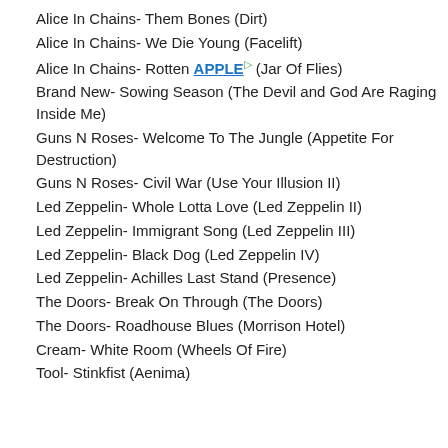Alice In Chains- Them Bones (Dirt)
Alice In Chains- We Die Young (Facelift)
Alice In Chains- Rotten APPLE (Jar Of Flies)
Brand New- Sowing Season (The Devil and God Are Raging Inside Me)
Guns N Roses- Welcome To The Jungle (Appetite For Destruction)
Guns N Roses- Civil War (Use Your Illusion II)
Led Zeppelin- Whole Lotta Love (Led Zeppelin II)
Led Zeppelin- Immigrant Song (Led Zeppelin III)
Led Zeppelin- Black Dog (Led Zeppelin IV)
Led Zeppelin- Achilles Last Stand (Presence)
The Doors- Break On Through (The Doors)
The Doors- Roadhouse Blues (Morrison Hotel)
Cream- White Room (Wheels Of Fire)
Tool- Stinkfist (Aenima)